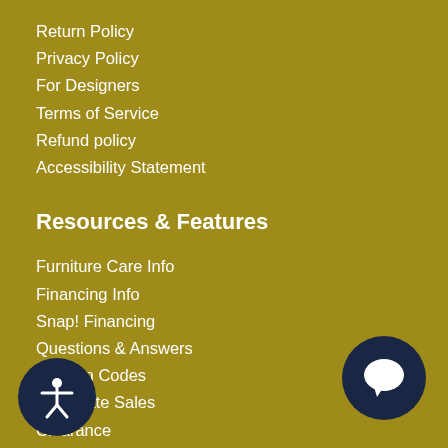Return Policy
Privacy Policy
For Designers
Terms of Service
Refund policy
Accessibility Statement
Resources & Features
Furniture Care Info
Financing Info
Snap! Financing
Questions & Answers
Coupon Codes
Corporate Sales
Clearance
Keep in Touch
Sign up for our Newsletter to get the latest details on sales,